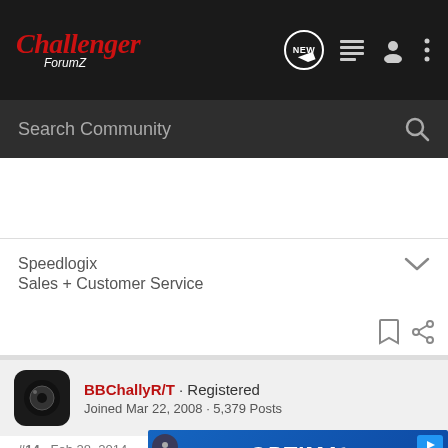Challenger ForumZ
Search Community
Speedlogix
Sales + Customer Service
BBChallyR/T · Registered
Joined Mar 22, 2008 · 5,379 Posts
#14 · Feb 28, 2014
Welcome to the Z from Maryland
[Figure (screenshot): Optima Batteries advertisement banner in blue]